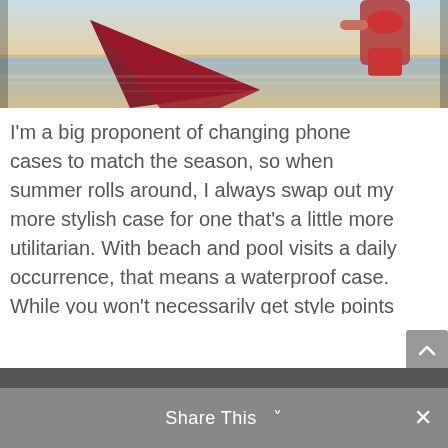[Figure (photo): Woman in red bikini at the beach with a surfboard, sunset lighting, water reflections]
I'm a big proponent of changing phone cases to match the season, so when summer rolls around, I always swap out my more stylish case for one that's a little more utilitarian. With beach and pool visits a daily occurrence, that means a waterproof case. While you won't necessarily get style points for these 5 waterproof cell phone cases, you will be the one with a dry phone that still works.
Share This  ✓  ×